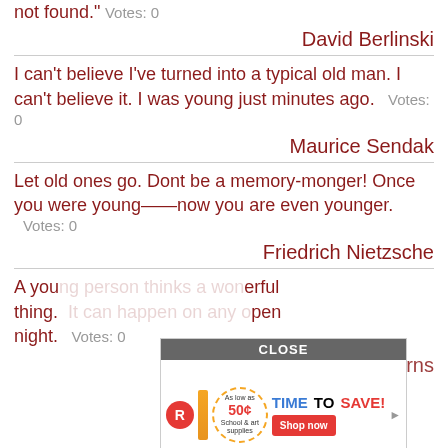not found." Votes: 0
David Berlinski
I can't believe I've turned into a typical old man. I can't believe it. I was young just minutes ago. Votes: 0
Maurice Sendak
Let old ones go. Dont be a memory-monger! Once you were young—now you are even younger. Votes: 0
Friedrich Nietzsche
A you[ng] [man thinks] a [won]derful thing. [...] [...] [o]pen night. Votes: 0
George Burns
[Figure (screenshot): Advertisement overlay with CLOSE button, showing a Crayola/school supplies sale: 'As low as 50¢, TIME TO SAVE!, Shop now']